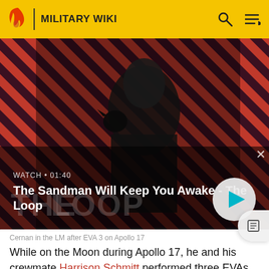MILITARY WIKI
[Figure (screenshot): Video thumbnail showing a dark figure with a raven on shoulder against red and black diagonal stripe background. Text overlay: WATCH • 01:40 and title 'The Sandman Will Keep You Awake - The Loop' with a play button.]
Cernan in the LM after EVA 3 on Apollo 17
While on the Moon during Apollo 17, he and his crewmate Harrison Schmitt performed three EVAs for a total of about 22 hours of exploration. Their first EVA alone...